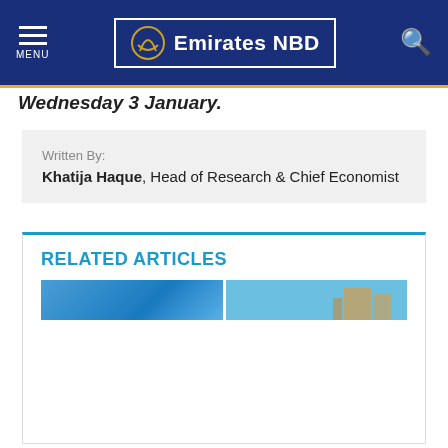Emirates NBD - MENU
Wednesday 3 January.
Written By:
Khatija Haque, Head of Research & Chief Economist
RELATED ARTICLES
[Figure (photo): Two related article thumbnail images showing blue sky scenes, one with a partial view of a building]